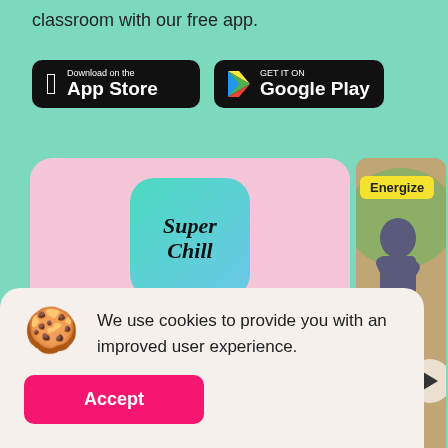classroom with our free app.
[Figure (screenshot): Download on the App Store button (black, rounded rectangle) and Get it on Google Play button (black, rounded rectangle)]
[Figure (screenshot): Pink card showing SuperChill app icon (teal-to-blue gradient with cursive SuperChill text) and 'Our App' label]
[Figure (screenshot): Right panel showing a person in a workout pose with yellow 'Energize' badge and play button overlay]
We use cookies to provide you with an improved user experience.
Accept